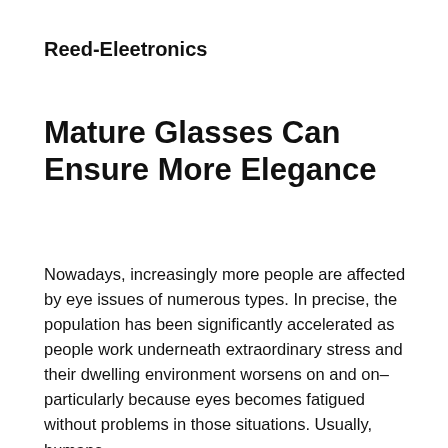Reed-Eleetronics
Mature Glasses Can Ensure More Elegance
Nowadays, increasingly more people are affected by eye issues of numerous types. In precise, the population has been significantly accelerated as people work underneath extraordinary stress and their dwelling environment worsens on and on– particularly because eyes becomes fatigued without problems in those situations. Usually, humans